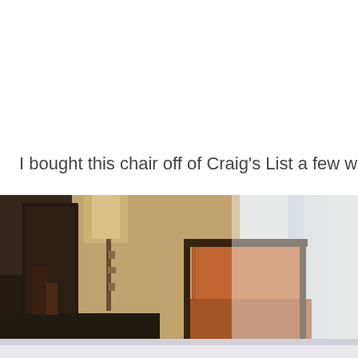I bought this chair off of Craig's List a few weeks ago…
[Figure (photo): A blurry indoor photo showing a wooden chair with an orange/brown seat and back, positioned near a dark wooden sideboard or table with a tall candlestick lamp. The background shows curtains with light coming through a window on the right side. Lower portion shows a bright reflective table surface.]